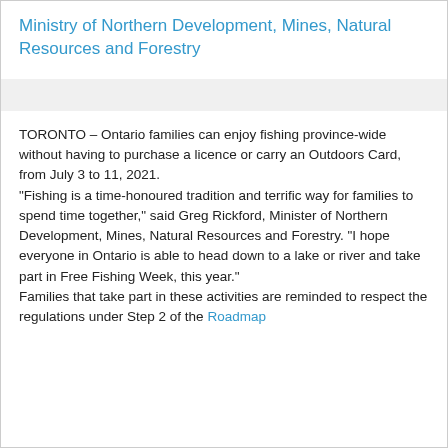Ministry of Northern Development, Mines, Natural Resources and Forestry
TORONTO – Ontario families can enjoy fishing province-wide without having to purchase a licence or carry an Outdoors Card, from July 3 to 11, 2021.
“Fishing is a time-honoured tradition and terrific way for families to spend time together,” said Greg Rickford, Minister of Northern Development, Mines, Natural Resources and Forestry. “I hope everyone in Ontario is able to head down to a lake or river and take part in Free Fishing Week, this year.”
Families that take part in these activities are reminded to respect the regulations under Step 2 of the Roadmap